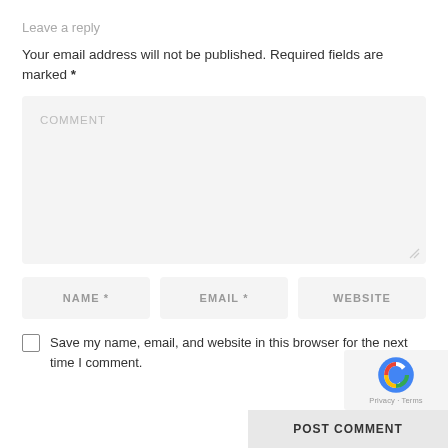Leave a reply
Your email address will not be published. Required fields are marked *
[Figure (screenshot): Comment textarea input field with placeholder text 'COMMENT' and resize handle at bottom right]
[Figure (screenshot): Three input fields in a row: NAME *, EMAIL *, WEBSITE]
Save my name, email, and website in this browser for the next time I comment.
[Figure (logo): reCAPTCHA badge with logo and Privacy - Terms text]
POST COMMENT